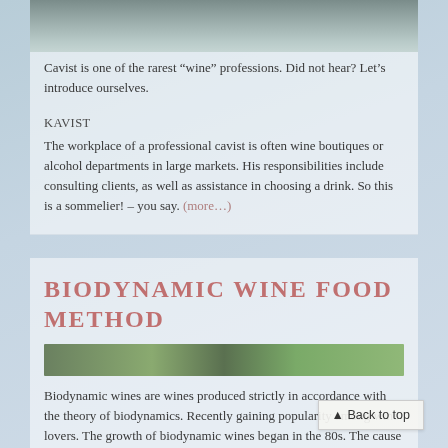[Figure (photo): Top image of a scenic boat or water scene with blurred/muted tones]
Cavist is one of the rarest “wine” professions. Did not hear? Let’s introduce ourselves.
KAVIST
The workplace of a professional cavist is often wine boutiques or alcohol departments in large markets. His responsibilities include consulting clients, as well as assistance in choosing a drink. So this is a sommelier! – you say. (more…)
BIODYNAMIC WINE FOOD METHOD
[Figure (photo): Vineyard landscape image with green foliage]
Biodynamic wines are wines produced strictly in accordance with the theory of biodynamics. Recently gaining popularity among wine lovers. The growth of biodynamic wines began in the 80s. The cause was the detrimental effect of using chemicals. Nicolas Joly, an expert on the wines of France, has become a promoter of this method...